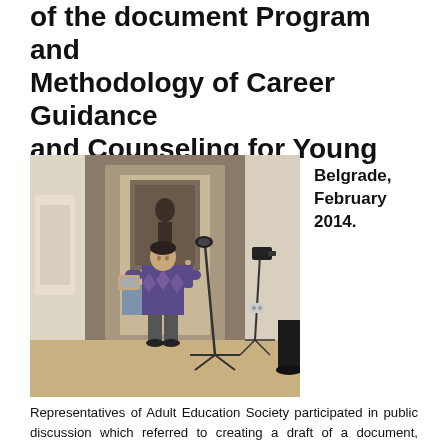of the document Program and Methodology of Career Guidance and Counseling for Young
[Figure (photo): A young man standing at a microphone on a tripod, holding a tablet, speaking in an ornate room with paintings on the wall and chairs in the background.]
Belgrade, February 2014.
Representatives of Adult Education Society participated in public discussion which referred to creating a draft of a document, named Program and Methodology of Career Guidance and Counseling for young, on february 25th at the Rektorat of Belgrade University. The meeting was organized to consider drafts of two documents developed within the